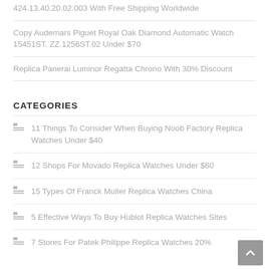424.13.40.20.02.003 With Free Shipping Worldwide
Copy Audemars Piguet Royal Oak Diamond Automatic Watch 15451ST. ZZ.1256ST.02 Under $70
Replica Panerai Luminor Regatta Chrono With 30% Discount
CATEGORIES
11 Things To Consider When Buying Noob Factory Replica Watches Under $40
12 Shops For Movado Replica Watches Under $60
15 Types Of Franck Muller Replica Watches China
5 Effective Ways To Buy Hublot Replica Watches Sites
7 Stores For Patek Philippe Replica Watches 20%